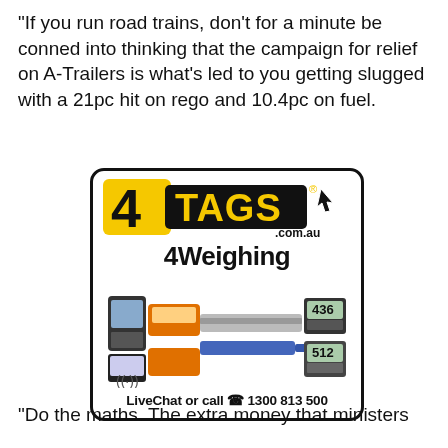“If you run road trains, don’t for a minute be conned into thinking that the campaign for relief on A-Trailers is what’s led to you getting slugged with a 21pc hit on rego and 10.4pc on fuel.
[Figure (illustration): 4TAGS.com.au advertisement featuring 4Weighing products including weighing scales, portable devices, and indicators with text LiveChat or call 1300 813 500]
“Do the maths. The extra money that ministers